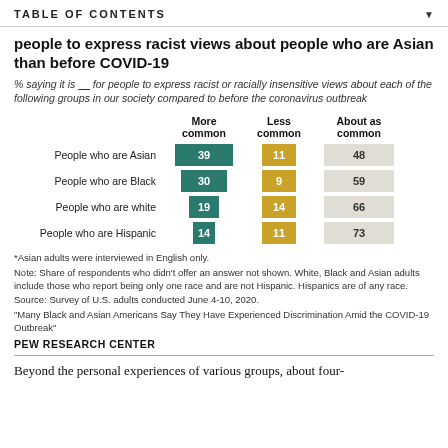TABLE OF CONTENTS
people to express racist views about people who are Asian than before COVID-19
% saying it is ____ for people to express racist or racially insensitive views about each of the following groups in our society compared to before the coronavirus outbreak
[Figure (grouped-bar-chart): ]
*Asian adults were interviewed in English only.
Note: Share of respondents who didn't offer an answer not shown. White, Black and Asian adults include those who report being only one race and are not Hispanic. Hispanics are of any race.
Source: Survey of U.S. adults conducted June 4-10, 2020.
"Many Black and Asian Americans Say They Have Experienced Discrimination Amid the COVID-19 Outbreak"
PEW RESEARCH CENTER
Beyond the personal experiences of various groups, about four-